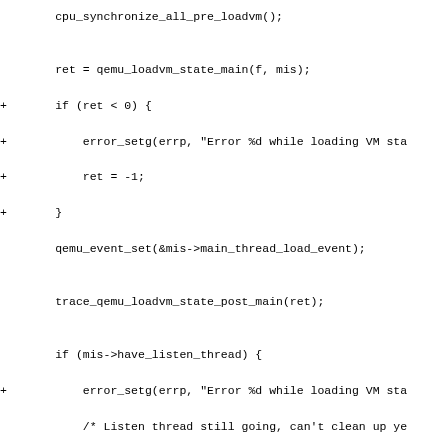Code diff showing modifications to qemu_loadvm_state function including error handling additions with error_setg calls and ret = -1 assignments, plus diff hunk header for -2690,8 +2699,8 @@ int qemu_loadvm_state(QEMUFile *f)